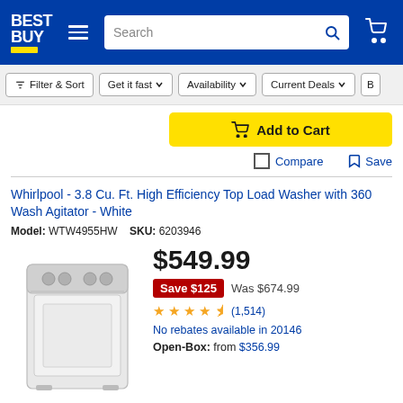[Figure (screenshot): Best Buy website header with logo, hamburger menu, search bar, and cart icon on blue background]
[Figure (screenshot): Filter bar with Filter & Sort, Get it fast, Availability, Current Deals buttons]
[Figure (screenshot): Yellow Add to Cart button with cart icon]
Compare  Save
Whirlpool - 3.8 Cu. Ft. High Efficiency Top Load Washer with 360 Wash Agitator - White
Model: WTW4955HW  SKU: 6203946
[Figure (photo): White Whirlpool top load washer product photo]
$549.99
Save $125  Was $674.99
4.5 stars (1,514)
No rebates available in 20146
Open-Box: from $356.99